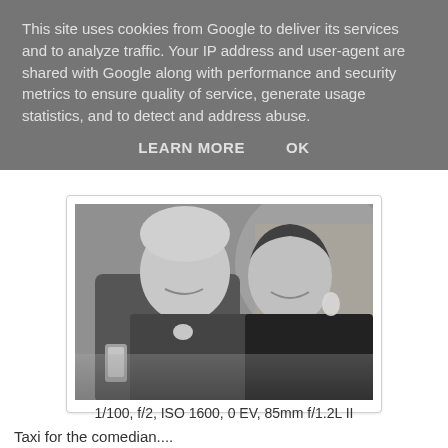This site uses cookies from Google to deliver its services and to analyze traffic. Your IP address and user-agent are shared with Google along with performance and security metrics to ensure quality of service, generate usage statistics, and to detect and address abuse.
LEARN MORE   OK
[Figure (photo): Black and white photo of two people at what appears to be a wedding or formal event. On the left, an older man with gray hair wearing a suit with a boutonniere, holding a drink glass and smiling. On the right, a young woman with short dark hair wearing a dark outfit with a statement earring, also smiling.]
1/100, f/2, ISO 1600, 0 EV, 85mm f/1.2L II
Taxi for the comedian....